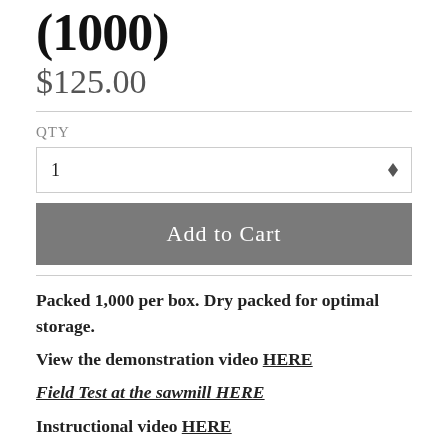(1000)
$125.00
QTY
1
Add to Cart
Packed 1,000 per box.  Dry packed for optimal storage.
View the demonstration video HERE
Field Test  at the sawmill HERE
Instructional video HERE
The best protection for your wood, the economic